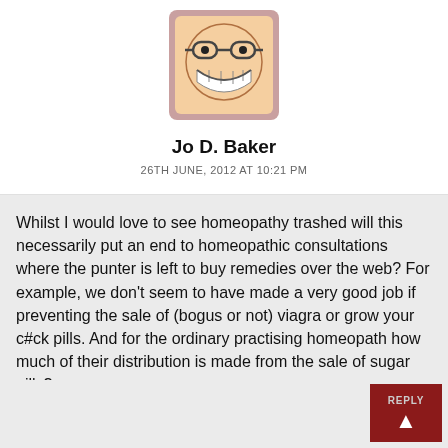[Figure (illustration): Cartoon avatar of a face with glasses and teeth, in a pinkish square frame]
Jo D. Baker
26TH JUNE, 2012 AT 10:21 PM
Whilst I would love to see homeopathy trashed will this necessarily put an end to homeopathic consultations where the punter is left to buy remedies over the web? For example, we don't seem to have made a very good job if preventing the sale of (bogus or not) viagra or grow your c#ck pills. And for the ordinary practising homeopath how much of their distribution is made from the sale of sugar pills?